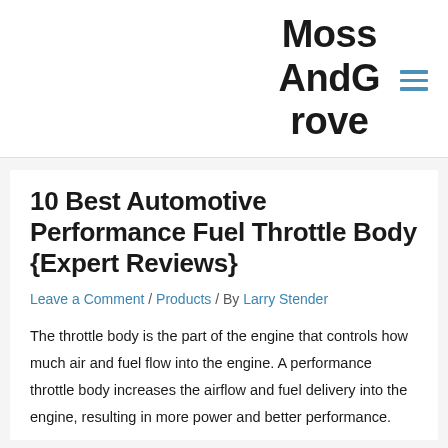MossAndGrove
10 Best Automotive Performance Fuel Throttle Body {Expert Reviews}
Leave a Comment / Products / By Larry Stender
The throttle body is the part of the engine that controls how much air and fuel flow into the engine. A performance throttle body increases the airflow and fuel delivery into the engine, resulting in more power and better performance.